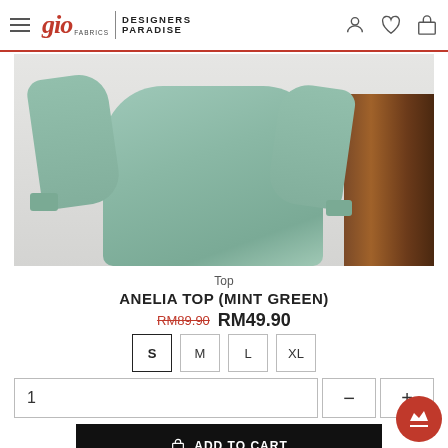gio FABRICS | DESIGNERS PARADISE
[Figure (photo): Product photo of a mint green oversized top (Anelia Top) worn by a model, with a wooden shelf visible in the background.]
Top
ANELIA TOP (MINT GREEN)
RM89.90 RM49.90
S  M  L  XL
1
ADD TO CART